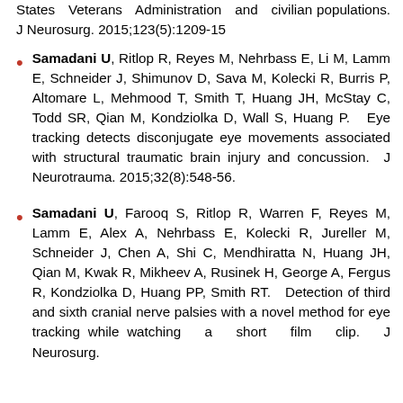States Veterans Administration and civilian populations. J Neurosurg. 2015;123(5):1209-15
Samadani U, Ritlop R, Reyes M, Nehrbass E, Li M, Lamm E, Schneider J, Shimunov D, Sava M, Kolecki R, Burris P, Altomare L, Mehmood T, Smith T, Huang JH, McStay C, Todd SR, Qian M, Kondziolka D, Wall S, Huang P. Eye tracking detects disconjugate eye movements associated with structural traumatic brain injury and concussion. J Neurotrauma. 2015;32(8):548-56.
Samadani U, Farooq S, Ritlop R, Warren F, Reyes M, Lamm E, Alex A, Nehrbass E, Kolecki R, Jureller M, Schneider J, Chen A, Shi C, Mendhiratta N, Huang JH, Qian M, Kwak R, Mikheev A, Rusinek H, George A, Fergus R, Kondziolka D, Huang PP, Smith RT. Detection of third and sixth cranial nerve palsies with a novel method for eye tracking while watching a short film clip. J Neurosurg.